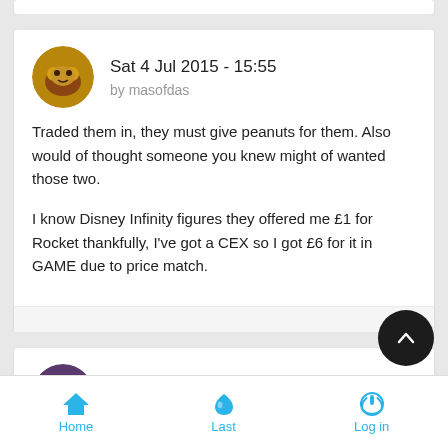Sat 4 Jul 2015 - 15:55
by masofdas
Traded them in, they must give peanuts for them. Also would of thought someone you knew might of wanted those two.

I know Disney Infinity figures they offered me £1 for Rocket thankfully, I've got a CEX so I got £6 for it in GAME due to price match.
Sat 4 Jul 2015 - 17:18
by Zero Jones
Home  Last  Log in